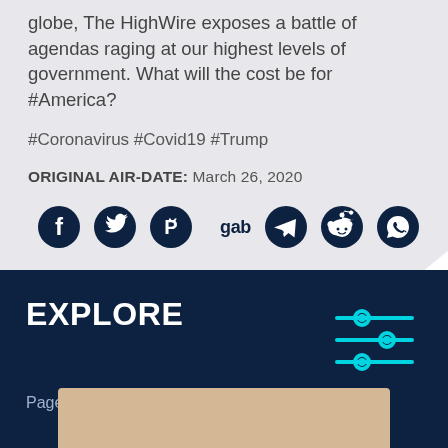globe, The HighWire exposes a battle of agendas raging at our highest levels of government. What will the cost be for #America?
#Coronavirus #Covid19 #Trump
ORIGINAL AIR-DATE: March 26, 2020
[Figure (other): Social sharing icons: Facebook, Twitter, Parler, Gab, Telegram, Reddit, WhatsApp]
EXPLORE
Page 1 of 10
[Figure (photo): Partial thumbnail image of a person, beige/tan background color, bottom of page]